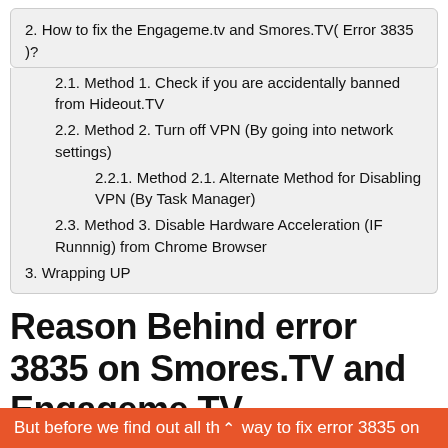2. How to fix the Engageme.tv and Smores.TV( Error 3835 )?
2.1. Method 1. Check if you are accidentally banned from Hideout.TV
2.2. Method 2. Turn off VPN (By going into network settings)
2.2.1. Method 2.1. Alternate Method for Disabling VPN (By Task Manager)
2.3. Method 3. Disable Hardware Acceleration (IF Runnnig) from Chrome Browser
3. Wrapping UP
Reason Behind error 3835 on Smores.TV and Engageme.TV
But before we find out all the way to fix error 3835 on